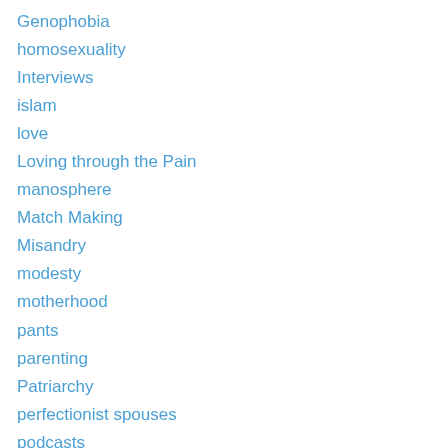Genophobia
homosexuality
Interviews
islam
love
Loving through the Pain
manosphere
Match Making
Misandry
modesty
motherhood
pants
parenting
Patriarchy
perfectionist spouses
podcasts
polygamy
rebuttals
Red Pill
relationships